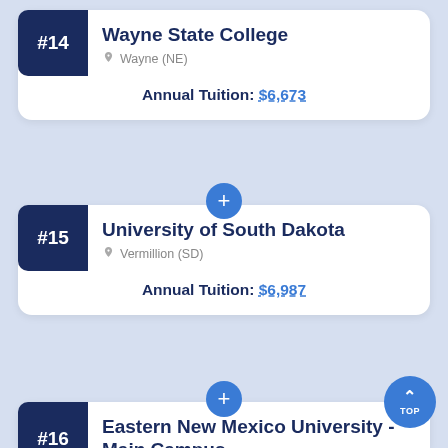#14 Wayne State College, Wayne (NE)
Annual Tuition: $6,673
#15 University of South Dakota, Vermillion (SD)
Annual Tuition: $6,987
#16 Eastern New Mexico University - Main Campus